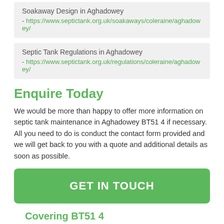Soakaway Design in Aghadowey - https://www.septictank.org.uk/soakaways/coleraine/aghadowey/
Septic Tank Regulations in Aghadowey - https://www.septictank.org.uk/regulations/coleraine/aghadowey/
Enquire Today
We would be more than happy to offer more information on septic tank maintenance in Aghadowey BT51 4 if necessary. All you need to do is conduct the contact form provided and we will get back to you with a quote and additional details as soon as possible.
GET IN TOUCH
Covering BT51 4